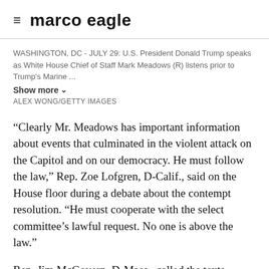marco eagle
WASHINGTON, DC - JULY 29: U.S. President Donald Trump speaks as White House Chief of Staff Mark Meadows (R) listens prior to Trump's Marine ...
Show more
ALEX WONG/GETTY IMAGES
“Clearly Mr. Meadows has important information about events that culminated in the violent attack on the Capitol and on our democracy. He must follow the law,” Rep. Zoe Lofgren, D-Calif., said on the House floor during a debate about the contempt resolution. “He must cooperate with the select committee’s lawful request. No one is above the law.”
Rep. Jim McGovern, D-Mass., called the texts “nothing short of a bombshell” on Tuesday